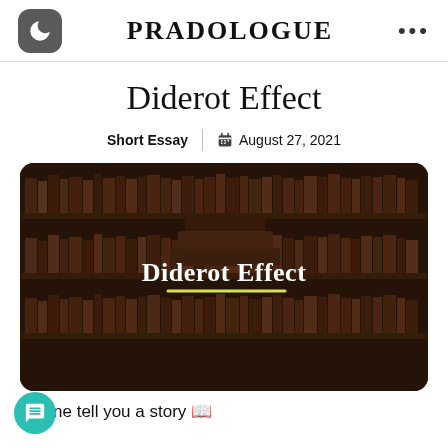PRADOLOGUE
Diderot Effect
Short Essay | August 27, 2021
[Figure (photo): Photo of a library with bookshelves full of old books, dark warm tones, with overlay text 'Diderot Effect' and a yellow underline]
Let me tell you a story 📖